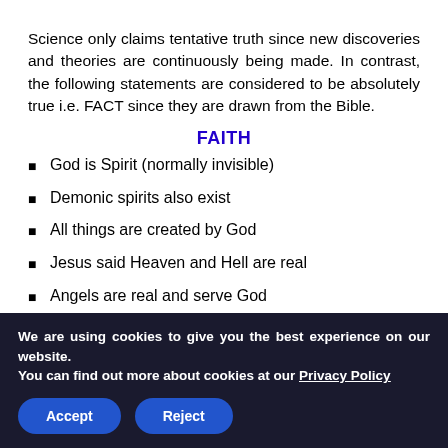Science only claims tentative truth since new discoveries and theories are continuously being made. In contrast, the following statements are considered to be absolutely true i.e. FACT since they are drawn from the Bible.
FAITH
God is Spirit (normally invisible)
Demonic spirits also exist
All things are created by God
Jesus said Heaven and Hell are real
Angels are real and serve God
Jesus is the Mediator between us and God
We are using cookies to give you the best experience on our website.
You can find out more about cookies at our Privacy Policy
Accept  Reject